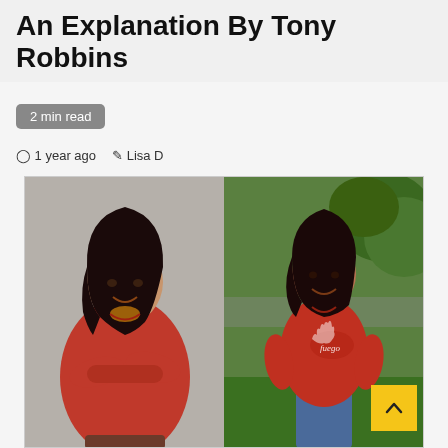An Explanation By Tony Robbins
2 min read
1 year ago   Lisa D
[Figure (photo): Before and after photos: left shows a woman in a red shirt with arms crossed against a gray background; right shows the same woman in a red Fuego t-shirt outdoors with green trees behind her, slimmer appearance.]